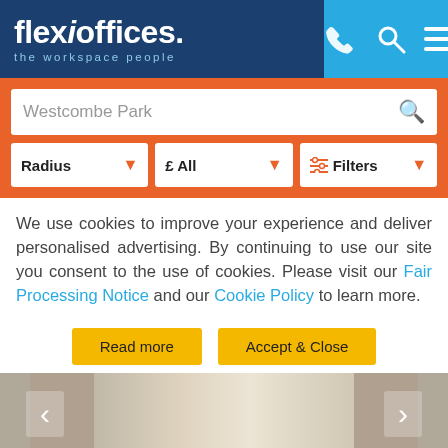[Figure (screenshot): flexioffices website header with logo 'flexioffices. the workspace people' on dark blue background, and phone/search/menu icons on blue background]
[Figure (screenshot): Orange search bar with text input showing 'Westcombe Park' and search icon, plus filter dropdowns: Radius, £ All, Filters]
We use cookies to improve your experience and deliver personalised advertising. By continuing to use our site you consent to the use of cookies. Please visit our Fair Processing Notice and our Cookie Policy to learn more.
Read more
Accept & Close
[Figure (photo): Interior room photo showing fireplace and tall windows, with left/right navigation arrows]